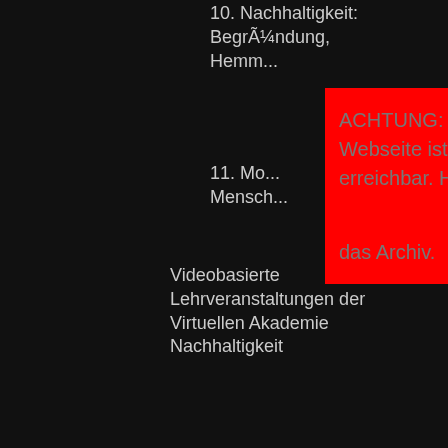10. Nachhaltigkeit: BegrÃ¼ndung, Hemm...
11. Mo... Mensch...
Videobasierte Lehrveranstaltungen der Virtuellen Akademie Nachhaltigkeit
Stattplan
Referat Finanzen
Referat Hochschulpolitik
Referat IT
Referat Kultur
Referat MobilitÃ¤t
Forum Verkehrsentwicklungsplan
Referat QualitÃ¤tsmanagement
FAU GesprÃ¤chsrunde
[Figure (screenshot): Red modal popup with ACHTUNG warning text: 'ACHTUNG: Die neue Stuve-Webseite ist unter [link] erreichbar. Hier ist nur noch das Archiv.' with an X close button]
Like f... MGNB... region... decla... faraw... region... vocab...
Men a... shift (... of pe... order ... partne... purch... and m... spous... appea... the Fr... one fe... disap... small ... that a... united... and re... in ord... disp...